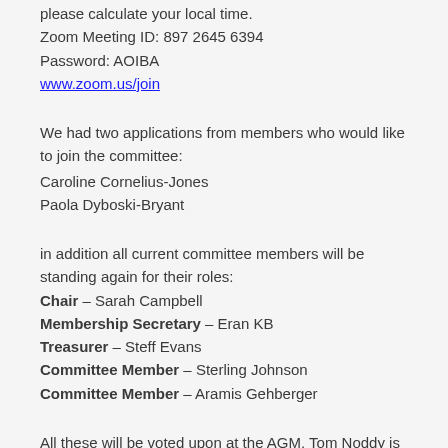please calculate your local time.
Zoom Meeting ID: 897 2645 6394
Password: AOIBA
www.zoom.us/join
We had two applications from members who would like to join the committee:
Caroline Cornelius-Jones
Paola Dyboski-Bryant
in addition all current committee members will be standing again for their roles:
Chair – Sarah Campbell
Membership Secretary – Eran KB
Treasurer – Steff Evans
Committee Member – Sterling Johnson
Committee Member – Aramis Gehberger
All these will be voted upon at the AGM. Tom Noddy is continuing